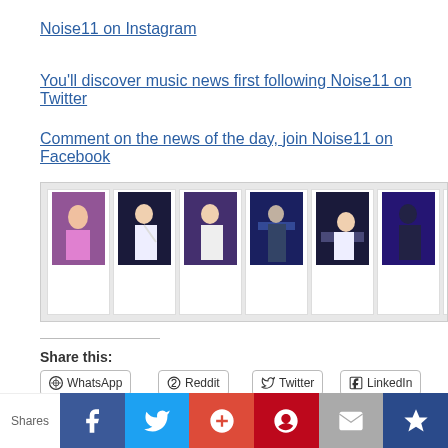Noise11 on Instagram
You'll discover music news first following Noise11 on Twitter
Comment on the news of the day, join Noise11 on Facebook
[Figure (photo): A horizontal strip of 7 concert performance photos showing performers on stage with colorful lighting]
Share this:
WhatsApp
Reddit
Twitter
LinkedIn
Facebook
More
Shares